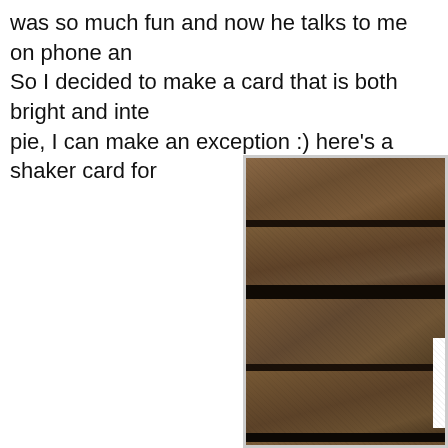was so much fun and now he talks to me on phone an... So I decided to make a card that is both bright and inte... pie, I can make an exception :) here's a shaker card for...
[Figure (photo): Close-up photograph of a rough stone or brick wall surface with dark mortar lines between layers, partially cropped at right edge of page.]